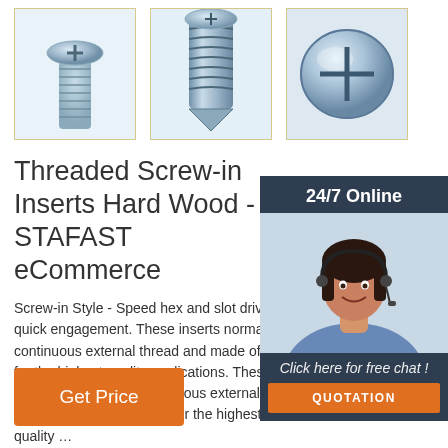[Figure (photo): Three product images of threaded screw-in inserts (metallic blue/silver screws) shown from different angles in individual bordered boxes]
Threaded Screw-in Inserts Hard Wood - STAFAST eCommerce
Screw-in Style - Speed hex and slot drive all quick engagement. These inserts normally h continuous external thread and made of stee for the highest quality applications. These ins normally have a continuous external thread a of steel or brass for the highest quality …
[Figure (photo): 24/7 Online customer service agent - woman with headset smiling, with a dark navy background panel containing 'Click here for free chat!' text and an orange QUOTATION button]
Get Price